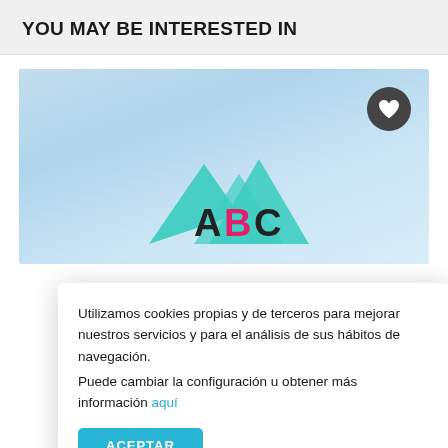YOU MAY BE INTERESTED IN
[Figure (screenshot): Screenshot of a webpage showing a product/article image with a light blue sky background and a mountain/logo graphic with teal mountain shapes and colorful letters ABC at the bottom center, plus a dark circular heart/favorite button in the top right corner.]
Utilizamos cookies propias y de terceros para mejorar nuestros servicios y para el análisis de sus hábitos de navegación.
Puede cambiar la configuración u obtener más información aquí
ACEPTAR